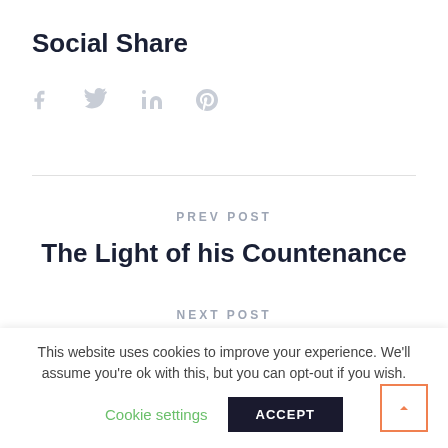Social Share
[Figure (other): Social share icons: Facebook, Twitter, LinkedIn, Pinterest]
PREV POST
The Light of his Countenance
NEXT POST
The Secret to Recurring Supply: Intimacy
This website uses cookies to improve your experience. We'll assume you're ok with this, but you can opt-out if you wish.
Cookie settings   ACCEPT